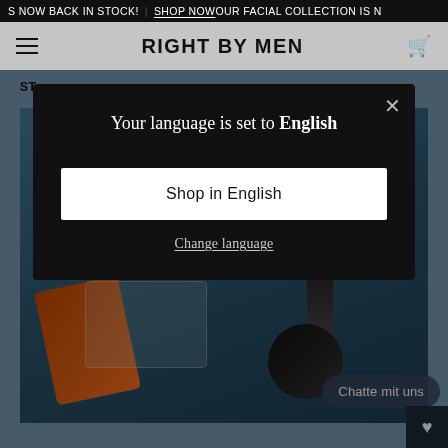S NOW BACK IN STOCK! | SHOP NOW OUR FACIAL COLLECTION IS N
RIGHT BY MEN
ST
[Figure (screenshot): Hero image showing Right By Men grooming products on a blue background including an orange pouch, black tubes and a round tin]
Your language is set to English
Shop in English
Change language
Chatte mit uns